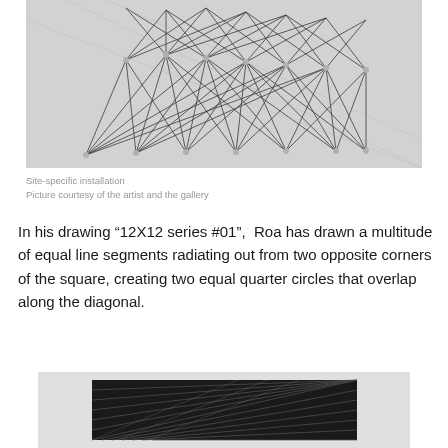[Figure (photo): Site-specific installation showing a complex web of equal line segments (strings or threads) radiating from corners, creating geometric crossing patterns on a white/grey wall background.]
Site-specific installation
Picture courtesy of the artist and the gallery
In his drawing “12X12 series #01”,  Roa has drawn a multitude of equal line segments radiating out from two opposite corners of the square, creating two equal quarter circles that overlap along the diagonal.
[Figure (photo): Black and white photograph of a geometric string art installation showing radiating diagonal lines creating a dark layered pattern.]